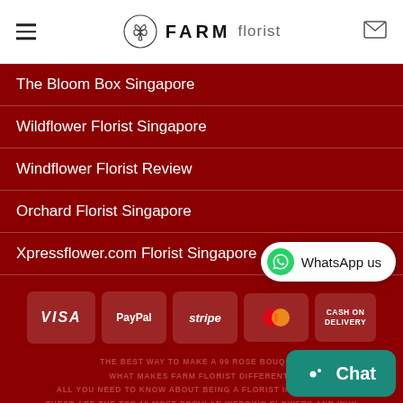FARM florist
The Bloom Box Singapore
Wildflower Florist Singapore
Windflower Florist Review
Orchard Florist Singapore
Xpressflower.com Florist Singapore
[Figure (infographic): Payment method badges: VISA, PayPal, stripe, MasterCard, CASH ON DELIVERY]
THE BEST WAY TO MAKE A 99 ROSE BOUQUET
WHAT MAKES FARM FLORIST DIFFERENT?
ALL YOU NEED TO KNOW ABOUT BEING A FLORIST IN SINGAPORE
THESE ARE THE TOP 10 MOST POPULAR WEDDING FLOWERS AND WHY